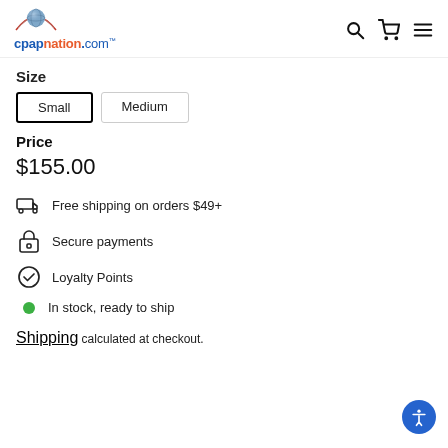cpapnation.com
Size
Small
Medium
Price
$155.00
Free shipping on orders $49+
Secure payments
Loyalty Points
In stock, ready to ship
Shipping calculated at checkout.